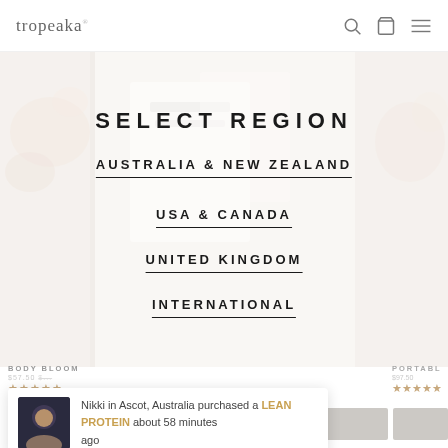tropeaka
[Figure (photo): Background lifestyle photo showing flatlay with flowers and paper on light surface, faded/washed out]
SELECT REGION
AUSTRALIA & NEW ZEALAND
USA & CANADA
UNITED KINGDOM
INTERNATIONAL
BODY BLOOM
★★★★★
PORTABL
★★★★★
QUICK ADD TO BAG +
Nikki in Ascot, Australia purchased a LEAN PROTEIN about 58 minutes ago